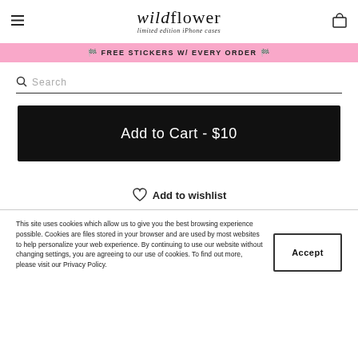wildflower limited edition iPhone cases
🏳️ FREE STICKERS W/ EVERY ORDER 🏳️
Search
Add to Cart - $10
Add to wishlist
This site uses cookies which allow us to give you the best browsing experience possible. Cookies are files stored in your browser and are used by most websites to help personalize your web experience. By continuing to use our website without changing settings, you are agreeing to our use of cookies. To find out more, please visit our Privacy Policy.